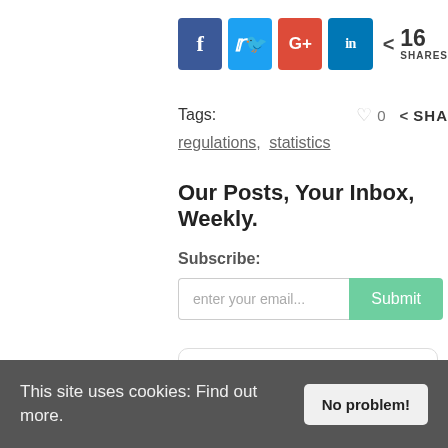[Figure (other): Social sharing buttons: Facebook (blue), Twitter (light blue), Google+ (red), LinkedIn (blue), and a share count showing 16 SHARES]
Tags: ♡ 0 < SHARE
regulations, statistics
Our Posts, Your Inbox, Weekly.
Subscribe:
enter your email... [Submit button]
Categories
This site uses cookies: Find out more. [No problem! button]